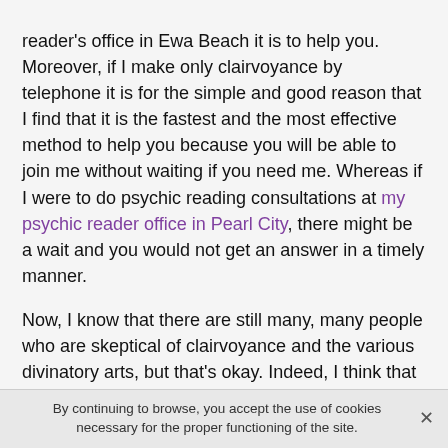reader's office in Ewa Beach it is to help you. Moreover, if I make only clairvoyance by telephone it is for the simple and good reason that I find that it is the fastest and the most effective method to help you because you will be able to join me without waiting if you need me. Whereas if I were to do psychic reading consultations at my psychic reader office in Pearl City, there might be a wait and you would not get an answer in a timely manner.
Now, I know that there are still many, many people who are skeptical of clairvoyance and the various divinatory arts, but that's okay. Indeed, I think that everyone is free to think what he wants and to lead his life as he wants. But I know that these people are, in most cases, those who do not want to see the truth as it is and prefer to pretend that everything is fine when it is not.
By continuing to browse, you accept the use of cookies necessary for the proper functioning of the site.